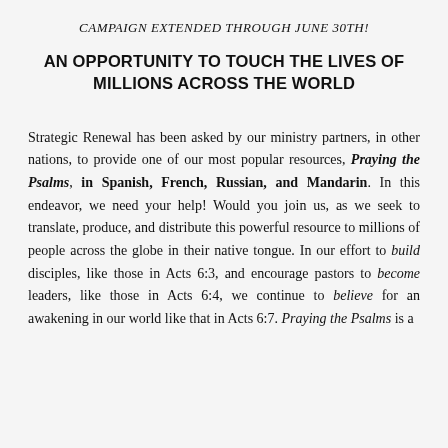CAMPAIGN EXTENDED THROUGH JUNE 30TH!
AN OPPORTUNITY TO TOUCH THE LIVES OF MILLIONS ACROSS THE WORLD
Strategic Renewal has been asked by our ministry partners, in other nations, to provide one of our most popular resources, Praying the Psalms, in Spanish, French, Russian, and Mandarin. In this endeavor, we need your help! Would you join us, as we seek to translate, produce, and distribute this powerful resource to millions of people across the globe in their native tongue. In our effort to build disciples, like those in Acts 6:3, and encourage pastors to become leaders, like those in Acts 6:4, we continue to believe for an awakening in our world like that in Acts 6:7. Praying the Psalms is a